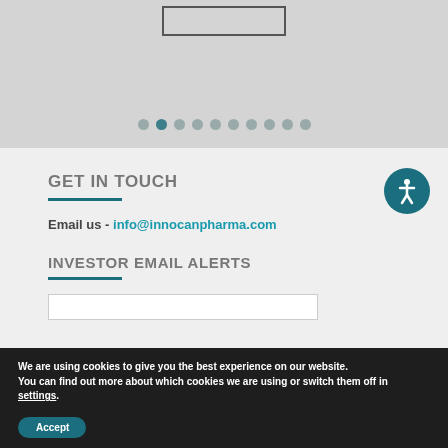[Figure (screenshot): Top gray section with a button placeholder outline and pagination dots, one dot highlighted in teal.]
GET IN TOUCH
Email us - info@innocanpharma.com
INVESTOR EMAIL ALERTS
[Figure (illustration): Accessibility icon — white person figure on teal circle background]
We are using cookies to give you the best experience on our website.
You can find out more about which cookies we are using or switch them off in settings.
Accept